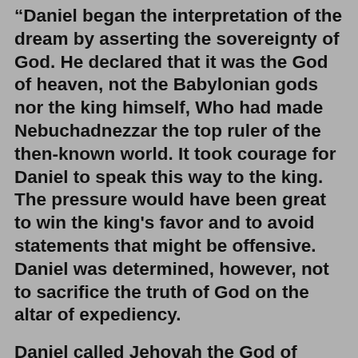“Daniel began the interpretation of the dream by asserting the sovereignty of God. He declared that it was the God of heaven, not the Babylonian gods nor the king himself, Who had made Nebuchadnezzar the top ruler of the then-known world. It took courage for Daniel to speak this way to the king. The pressure would have been great to win the king's favor and to avoid statements that might be offensive. Daniel was determined, however, not to sacrifice the truth of God on the altar of expediency.
Daniel called Jehovah the God of heaven not just because heaven is God's special dwelling place. The Babylonians believed that their gods came from the earth...